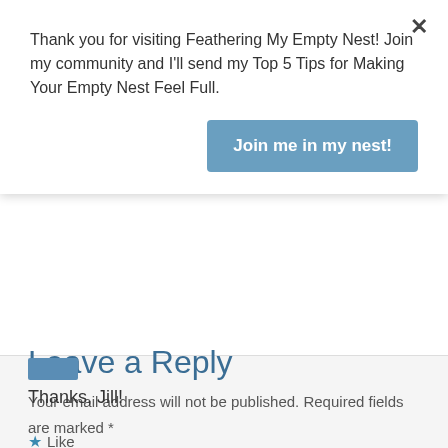Thank you for visiting Feathering My Empty Nest! Join my community and I'll send my Top 5 Tips for Making Your Empty Nest Feel Full.
Join me in my nest!
Thanks, Jill!
★ Like
Reply
Leave a Reply
Your email address will not be published. Required fields are marked *